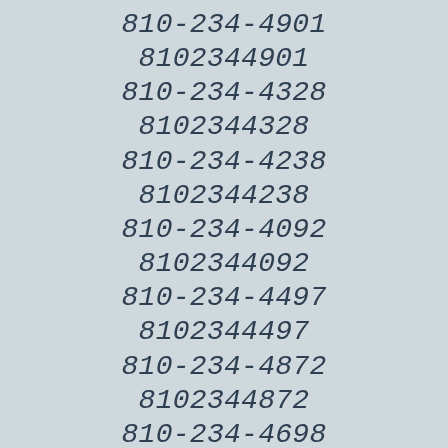810-234-4901
8102344901
810-234-4328
8102344328
810-234-4238
8102344238
810-234-4092
8102344092
810-234-4497
8102344497
810-234-4872
8102344872
810-234-4698
8102344698
810-234-4912
8102344912